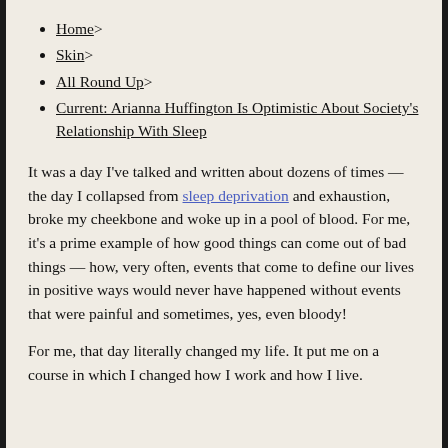Home>
Skin>
All Round Up>
Current: Arianna Huffington Is Optimistic About Society's Relationship With Sleep
It was a day I've talked and written about dozens of times — the day I collapsed from sleep deprivation and exhaustion, broke my cheekbone and woke up in a pool of blood. For me, it's a prime example of how good things can come out of bad things — how, very often, events that come to define our lives in positive ways would never have happened without events that were painful and sometimes, yes, even bloody!
For me, that day literally changed my life. It put me on a course in which I changed how I work and how I live.